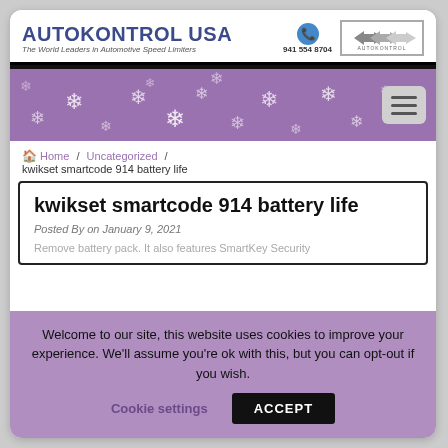AUTOKONTROL USA - The World Leaders in Automotive Speed Limiters | 941 554 8704
[Figure (logo): Purple navigation bar with snowflake decorations and hamburger menu icon]
Home / Uncategorized / kwikset smartcode 914 battery life
kwikset smartcode 914 battery life
Posted By on January 9, 2021
Remove battery pack. It also features SmartKey Security
Welcome to our site, this website uses cookies to improve your experience. We'll assume you're ok with this, but you can opt-out if you wish. Cookie settings ACCEPT